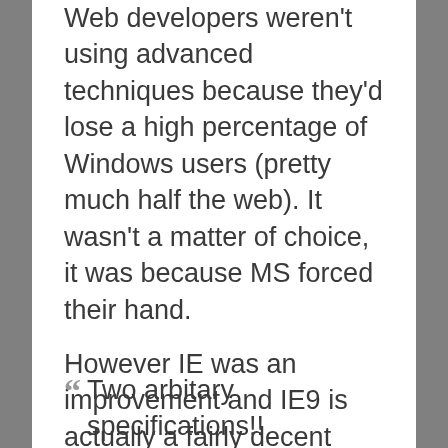Web developers weren't using advanced techniques because they'd lose a high percentage of Windows users (pretty much half the web). It wasn't a matter of choice, it was because MS forced their hand.

However IE was an improvement and IE9 is actually a fairly decent browser. So web developers are now adding advanced techniques they couldn't risk before.
Two arbitary specifications!!